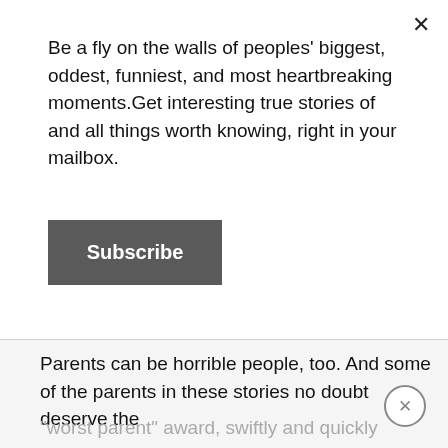Be a fly on the walls of peoples' biggest, oddest, funniest, and most heartbreaking moments.Get interesting true stories of and all things worth knowing, right in your mailbox.
Subscribe
[Figure (other): Gray empty advertisement or image placeholder area]
Parents can be horrible people, too. And some of the parents in these stories no doubt deserve the
"worst parent" award, swiftly and quickly